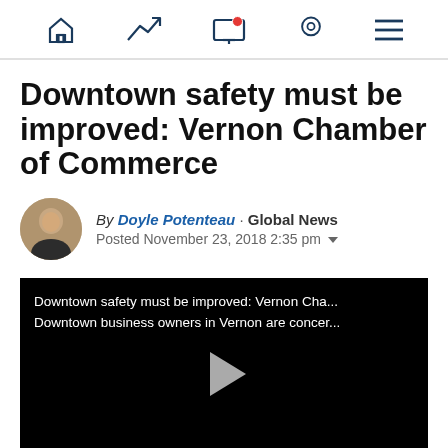Navigation bar with home, trending, screen/notification, location, and menu icons
Downtown safety must be improved: Vernon Chamber of Commerce
By Doyle Potenteau · Global News
Posted November 23, 2018 2:35 pm
[Figure (screenshot): Video player with black background showing text: 'Downtown safety must be improved: Vernon Cha... Downtown business owners in Vernon are concer...' with a play button in the center]